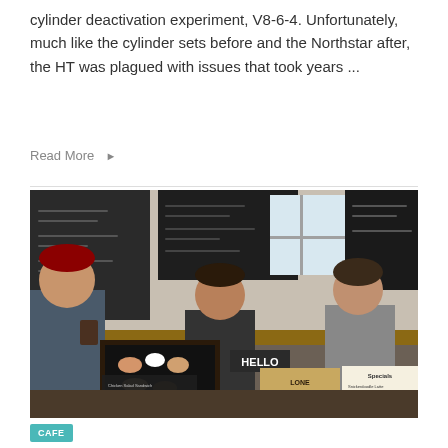cylinder deactivation experiment, V8-6-4. Unfortunately, much like the cylinder sets before and the Northstar after, the HT was plagued with issues that took years ...
Read More →
[Figure (photo): Interior of Lone Oak Coffee Co. café with baristas behind the counter, a customer holding a cup, chalkboard menu signs, pastries in display case, and a Specials board visible.]
CAFE